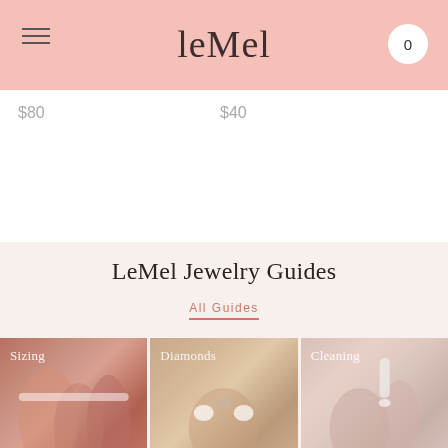LeMel — navigation header with logo and cart
$80
$40
LeMel Jewelry Guides
All Guides
[Figure (photo): Hands with ring sizing tape — labeled Sizing]
[Figure (photo): Hands working with diamond rings — labeled Diamonds]
[Figure (photo): Hands cleaning jewelry with syringe — labeled Cleaning]